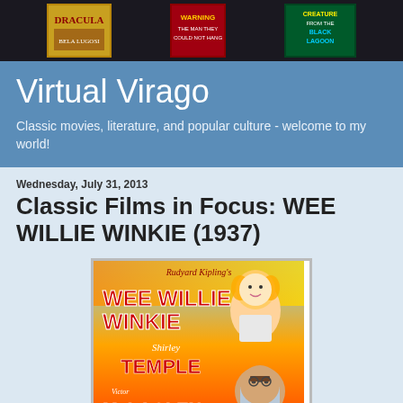[Figure (photo): Header banner showing movie posters including Dracula, a warning film, and Creature from the Black Lagoon displayed in a dark cinema/museum setting]
Virtual Virago
Classic movies, literature, and popular culture - welcome to my world!
Wednesday, July 31, 2013
Classic Films in Focus: WEE WILLIE WINKIE (1937)
[Figure (photo): Movie poster for Wee Willie Winkie (1937) - Rudyard Kipling's Wee Willie Winkie starring Shirley Temple and Victor McLaglen, colorful vintage poster with large text and illustrated characters]